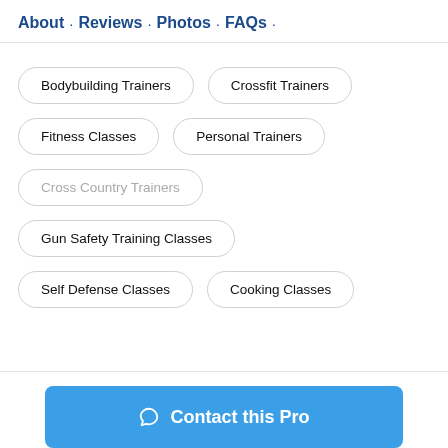About · Reviews · Photos · FAQs ·
Bodybuilding Trainers
Crossfit Trainers
Fitness Classes
Personal Trainers
Cross Country Trainers
Gun Safety Training Classes
Self Defense Classes
Cooking Classes
Contact this Pro